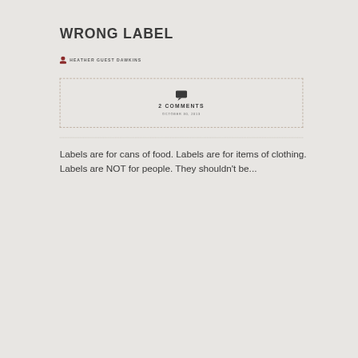WRONG LABEL
HEATHER GUEST DAWKINS
2 COMMENTS
OCTOBER 30, 2013
Labels are for cans of food. Labels are for items of clothing. Labels are NOT for people. They shouldn't be...